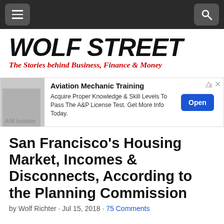Wolf Street navigation bar
[Figure (logo): Wolf Street logo with tagline 'The Stories behind Business, Finance & Money']
[Figure (infographic): Advertisement banner: Aviation Mechanic Training by AIM Institute. 'Acquire Proper Knowledge & Skill Levels To Pass The A&P License Test. Get More Info Today.' with Open button.]
San Francisco's Housing Market, Incomes & Disconnects, According to the Planning Commission
by Wolf Richter · Jul 15, 2018 · 75 Comments